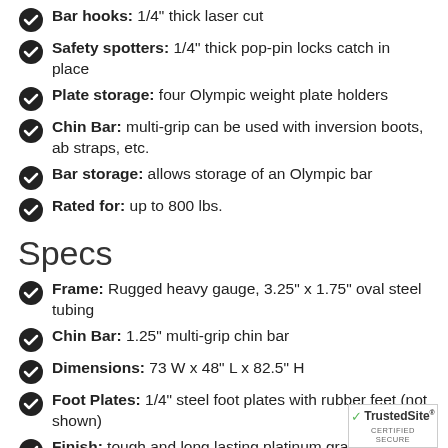Bar hooks: 1/4" thick laser cut
Safety spotters: 1/4" thick pop-pin locks catch in place
Plate storage: four Olympic weight plate holders
Chin Bar: multi-grip can be used with inversion boots, ab straps, etc.
Bar storage: allows storage of an Olympic bar
Rated for: up to 800 lbs.
Specs
Frame: Rugged heavy gauge, 3.25" x 1.75" oval steel tubing
Chin Bar: 1.25" multi-grip chin bar
Dimensions: 73 W x 48" L x 82.5" H
Foot Plates: 1/4" steel foot plates with rubber feet (not shown)
Finish: tough and long lasting platinum gray powder coated finish
Warranty
[Figure (logo): TrustedSite Certified Secure badge]